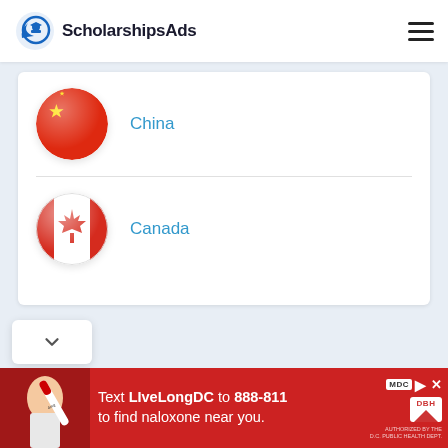ScholarshipsAds
China
Canada
[Figure (infographic): Advertisement banner: red background, text 'Text LIveLongDC to 888-811 to find naloxone near you.' with MDC and DBH logos]
Text LIveLongDC to 888-811 to find naloxone near you.